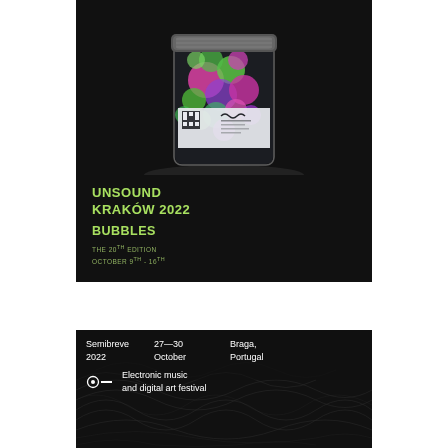[Figure (illustration): Unsound Kraków 2022 festival poster featuring a glass jar filled with colorful pink, green and purple bubbles/organic shapes against a dark background. The jar has a grey lid and a white label with a QR code and the Unsound logo.]
UNSOUND KRAKÓW 2022
BUBBLES
THE 20TH EDITION OCTOBER 9TH - 16TH
[Figure (illustration): Semibreve 2022 festival banner with dark textured background showing abstract wave or fiber patterns. White text reading Semibreve 2022, 27-30 October, Braga Portugal, Electronic music and digital art festival.]